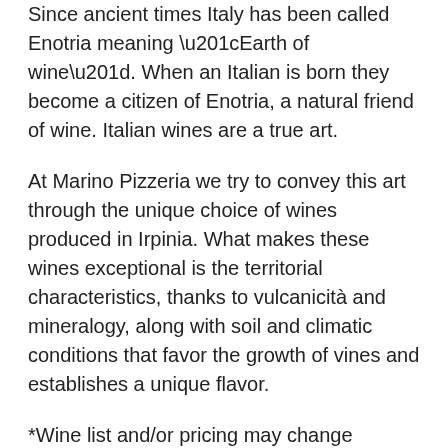Since ancient times Italy has been called Enotria meaning “Earth of wine”. When an Italian is born they become a citizen of Enotria, a natural friend of wine. Italian wines are a true art.
At Marino Pizzeria we try to convey this art through the unique choice of wines produced in Irpinia. What makes these wines exceptional is the territorial characteristics, thanks to vulcanicità and mineralogy, along with soil and climatic conditions that favor the growth of vines and establishes a unique flavor.
*Wine list and/or pricing may change without notice.